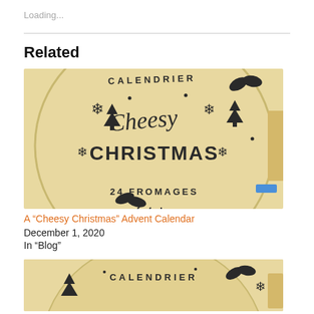Loading...
Related
[Figure (photo): A circular wooden advent calendar with 'CALENDRIER Cheesy CHRISTMAS 24 FROMAGES' printed on it with Christmas decorations like snowflakes, trees, and holly]
A “Cheesy Christmas” Advent Calendar
December 1, 2020
In “Blog”
[Figure (photo): Partial view of the same circular wooden advent calendar showing 'CALENDRIER' text at top]